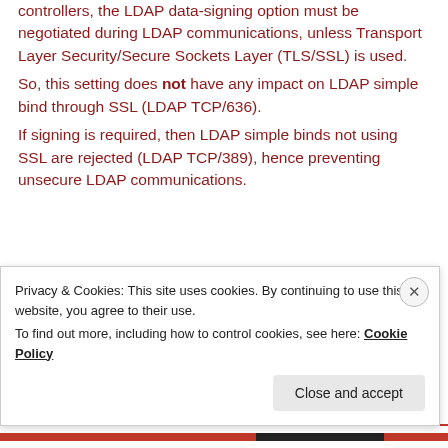controllers, the LDAP data-signing option must be negotiated during LDAP communications, unless Transport Layer Security/Secure Sockets Layer (TLS/SSL) is used.
So, this setting does not have any impact on LDAP simple bind through SSL (LDAP TCP/636).
If signing is required, then LDAP simple binds not using SSL are rejected (LDAP TCP/389), hence preventing unsecure LDAP communications.
Privacy & Cookies: This site uses cookies. By continuing to use this website, you agree to their use.
To find out more, including how to control cookies, see here: Cookie Policy